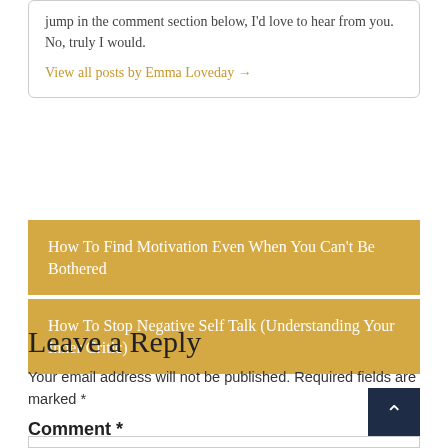jump in the comment section below, I'd love to hear from you. No, truly I would.
View all posts by Emma Loveday →
How To Find Motivation Even When You Can't Be Bothered
How To Stop Negative Self Talk (Understanding Your Inner Critic)
Leave a Reply
Your email address will not be published. Required fields are marked *
Comment *